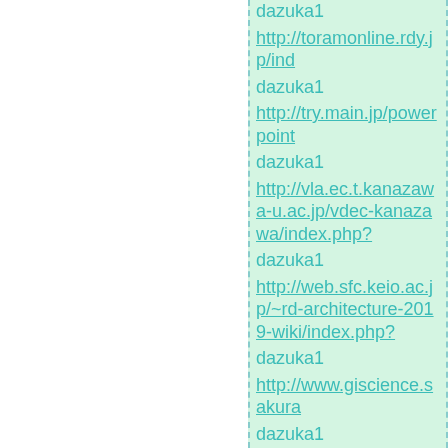dazuka1
http://toramonline.rdy.jp/ind…
dazuka1
http://try.main.jp/powerpoint…
dazuka1
http://vla.ec.t.kanazawa-u.ac.jp/vdec-kanazawa/index.php?
dazuka1
http://web.sfc.keio.ac.jp/~rd-architecture-2019-wiki/index.php?
dazuka1
http://www.giscience.sakura…
dazuka1
http://www.it-solutions.jp/hcxwiki/index.p…
dazuka1
http://www.kasukawa.net/in…